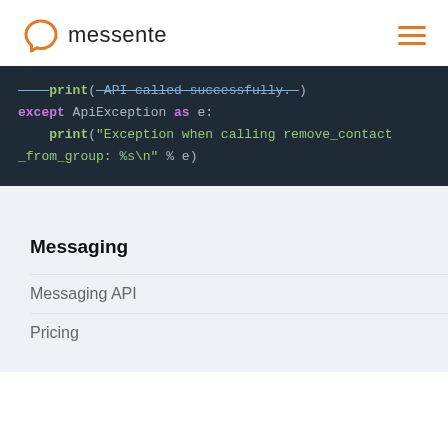messente
[Figure (screenshot): Code block showing Python exception handling: print('API called successfully.'), except ApiException as e:, print('Exception when calling remove_contact_from_group: %s\n' % e)]
Messaging
Messaging API
Pricing